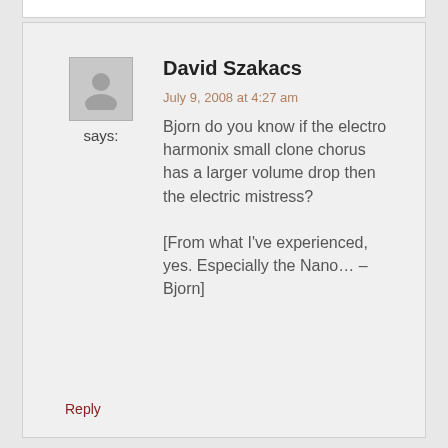[Figure (illustration): Generic user avatar icon, gray silhouette of a person in a light gray square]
says:
David Szakacs
July 9, 2008 at 4:27 am
Bjorn do you know if the electro harmonix small clone chorus has a larger volume drop then the electric mistress?

[From what I've experienced, yes. Especially the Nano... – Bjorn]
Reply